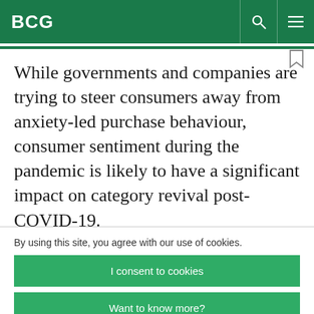BCG
While governments and companies are trying to steer consumers away from anxiety-led purchase behaviour, consumer sentiment during the pandemic is likely to have a significant impact on category revival post-COVID-19.
By using this site, you agree with our use of cookies.
I consent to cookies
Want to know more?
Read our Cookie Policy